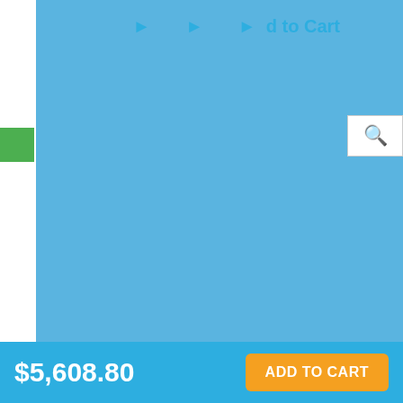[Figure (screenshot): Blue navigation/hero overlay with white arrow markers and search icon, partial e-commerce page header with 'Add to Cart' link]
| Specification | Value |
| --- | --- |
| Cooling Total Input (W): | 2,100 |
| Rated Heating Capacity (BTU): | 25,000 |
| Heating Capacity Range (BTU): | 11,400 - 30,600 |
| Heating Total Input (W): | 1,900 |
| MXZ3B24NA Outdoor Unit Power: |  |
| Power Supply: | 1-phase, 60Hz, 208 / 230V *2 |
| Voltage Indoor - Outdoor S1 - S2: | AC 208 / 230V |
| Voltage Indoor - Outdoor S2 - S3: | DC12-24V |
| MXZ3B24NA Outdoor Unit Specifications: |  |
| MCA (A): | 15 |
| MOCP (A): | 20 |
$5,608.80
ADD TO CART